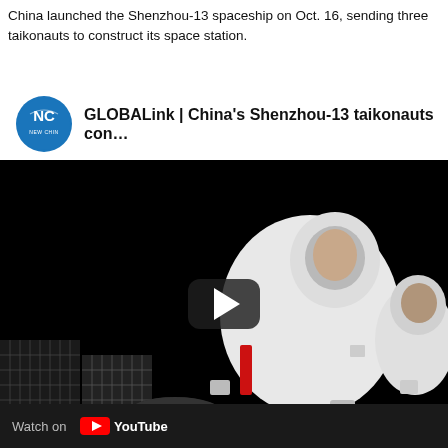China launched the Shenzhou-13 spaceship on Oct. 16, sending three taikonauts to construct its space station.
[Figure (screenshot): YouTube video embed showing GLOBALink | China's Shenzhou-13 taikonauts con... — New China TV channel logo on left, video thumbnail showing taikonauts in spacesuits against black background with play button overlay, Watch on YouTube bar at bottom.]